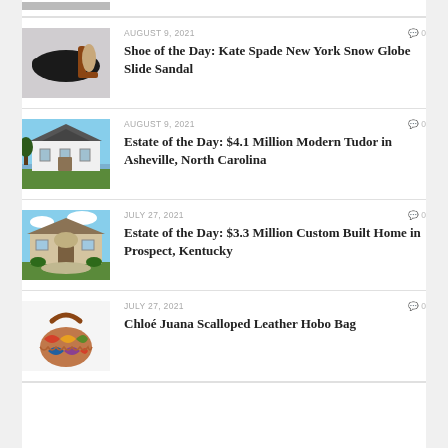[Figure (photo): Partial thumbnail of a shoe at top of page (cropped)]
AUGUST 9, 2021   0
Shoe of the Day: Kate Spade New York Snow Globe Slide Sandal
[Figure (photo): Black high-heeled slide sandal with decorative heel]
AUGUST 9, 2021   0
Estate of the Day: $4.1 Million Modern Tudor in Asheville, North Carolina
[Figure (photo): White modern Tudor style house with large driveway]
JULY 27, 2021   0
Estate of the Day: $3.3 Million Custom Built Home in Prospect, Kentucky
[Figure (photo): Large beige custom built home with circular driveway]
JULY 27, 2021   0
Chloé Juana Scalloped Leather Hobo Bag
[Figure (photo): Colorful patchwork leather hobo bag with brown strap]